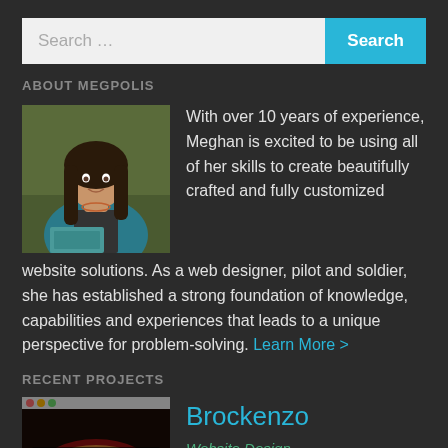Search …
ABOUT MEGPOLIS
[Figure (photo): Photo of Meghan, a woman with long dark hair wearing a blue cardigan, sitting outdoors with a laptop]
With over 10 years of experience, Meghan is excited to be using all of her skills to create beautifully crafted and fully customized website solutions. As a web designer, pilot and soldier, she has established a strong foundation of knowledge, capabilities and experiences that leads to a unique perspective for problem-solving. Learn More >
RECENT PROJECTS
[Figure (screenshot): Thumbnail screenshot of Brockenzo website showing food/pizza imagery with dark overlay and text]
Brockenzo
Website Design